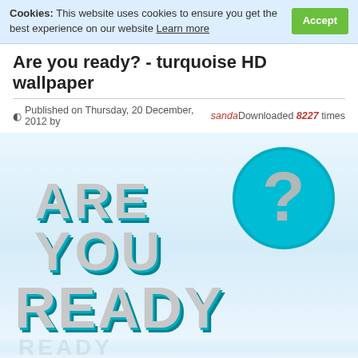Cookies: This website uses cookies to ensure you get the best experience on our website Learn more  Accept
Are you ready? - turquoise HD wallpaper
Published on Thursday, 20 December, 2012 by sanda   Downloaded 8227 times
[Figure (photo): 3D turquoise and grey text reading 'ARE YOU READY?' with a large question mark, rendered in glossy 3D typography on a white/light blue gradient background]